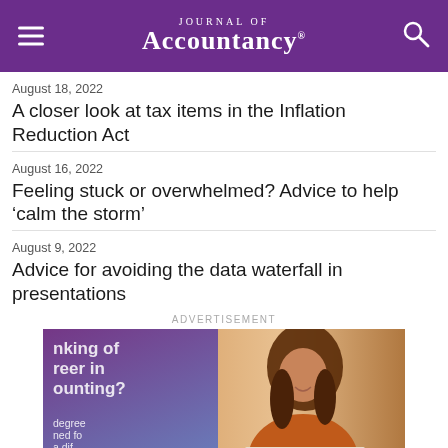Journal of Accountancy
August 18, 2022
A closer look at tax items in the Inflation Reduction Act
August 16, 2022
Feeling stuck or overwhelmed? Advice to help ‘calm the storm’
August 9, 2022
Advice for avoiding the data waterfall in presentations
ADVERTISEMENT
[Figure (photo): Advertisement image showing a woman working at a laptop with text overlay about a career in accounting on a purple-to-blue gradient panel]